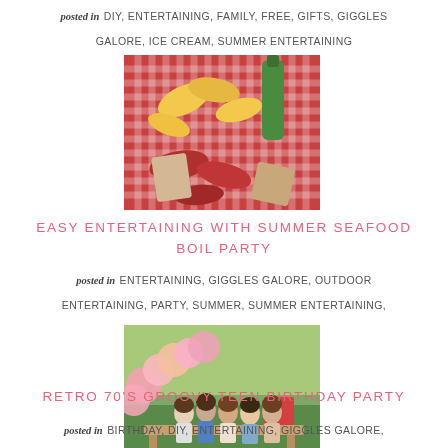posted in DIY, ENTERTAINING, FAMILY, FREE, GIFTS, GIGGLES GALORE, ICE CREAM, SUMMER ENTERTAINING
[Figure (photo): Overhead shot of seafood boil spread on red gingham tablecloth with corn, crawfish, and green glass bottle]
EASY ENTERTAINING WITH SUMMER SEAFOOD BOIL PARTY
posted in ENTERTAINING, GIGGLES GALORE, OUTDOOR ENTERTAINING, PARTY, SUMMER, SUMMER ENTERTAINING, SUMMER ENTERTAINING
[Figure (photo): Group of women posing at a retro 70s groovy teen birthday party with pink balloon arch and colorful decorations]
RETRO 70'S GROOVY TEEN BIRTHDAY PARTY
posted in BIRTHDAY, DIY, ENTERTAINING, GIGGLES GALORE,